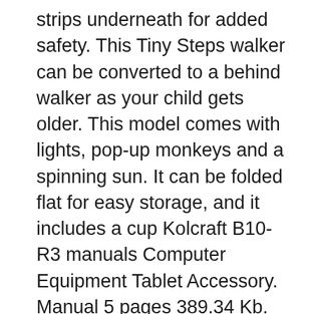strips underneath for added safety. This Tiny Steps walker can be converted to a behind walker as your child gets older. This model comes with lights, pop-up monkeys and a spinning sun. It can be folded flat for easy storage, and it includes a cup Kolcraft B10-R3 manuals Computer Equipment Tablet Accessory. Manual 5 pages 389.34 Kb. Kolcraft B13-R7 1/04 manuals Baby Crib
30/09/2015B B· Learn how to assemble and use your Sesame Street Elmo 2-in-1 Walker. This 2-in-1 has independent front swivel wheels for easy maneuverability, and non-skid friction pads to allow for easy stops. This walker is for standing babies between 15 and 26 pounds, less than 30 inches tall. This JPMA certified walker